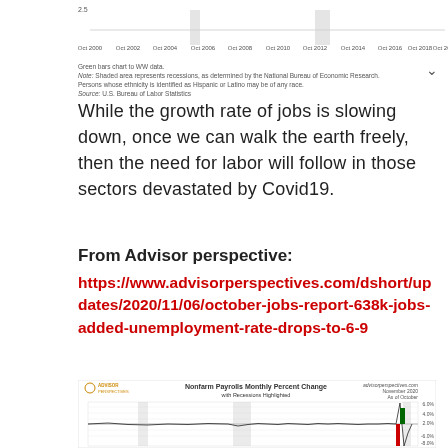[Figure (continuous-plot): Top portion of a line/bar chart showing employment data from Oct 2000 to Oct 2020, with x-axis labels visible and a value of 2.5 on the y-axis]
Green bars chart to WW data.
Note: Shaded area represents recessions, as determined by the National Bureau of Economic Research.
Persons whose ethnicity is identified as Hispanic or Latino may be of any race.
Source: U.S. Bureau of Labor Statistics
While the growth rate of jobs is slowing down, once we can walk the earth freely, then the need for labor will follow in those sectors devastated by Covid19.
From Advisor perspective:
https://www.advisorperspectives.com/dshort/updates/2020/11/06/october-jobs-report-638k-jobs-added-unemployment-rate-drops-to-6-9
[Figure (continuous-plot): Nonfarm Payrolls Monthly Percent Change with Recessions Highlighted chart from Advisor Perspectives, November 2020, As of October. Shows percent change from approximately -6% to 6%, with a dramatic drop and recovery in 2020.]